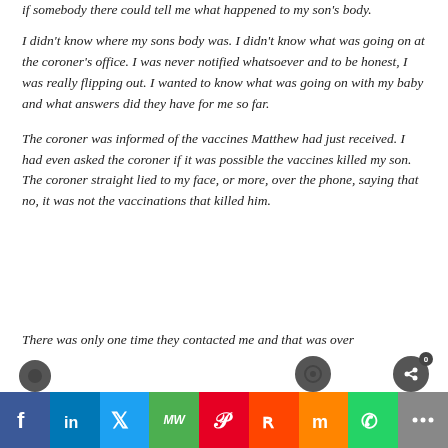if somebody there could tell me what happened to my son's body.
I didn't know where my sons body was. I didn't know what was going on at the coroner's office. I was never notified whatsoever and to be honest, I was really flipping out. I wanted to know what was going on with my baby and what answers did they have for me so far.
The coroner was informed of the vaccines Matthew had just received. I had even asked the coroner if it was possible the vaccines killed my son. The coroner straight lied to my face, or more, over the phone, saying that no, it was not the vaccinations that killed him.
There was only one time they contacted me and that was over...
[Figure (infographic): Social media share bar with icons for Facebook, LinkedIn, Twitter, MW, Pinterest, Reddit, Mix, WhatsApp, and More (ellipsis), with a notification badge showing 0 on the WhatsApp/last icon area.]